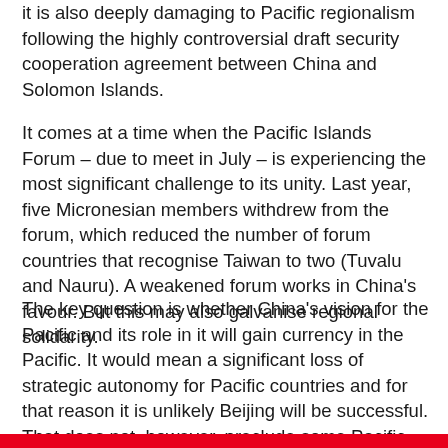it is also deeply damaging to Pacific regionalism following the highly controversial draft security cooperation agreement between China and Solomon Islands.
It comes at a time when the Pacific Islands Forum – due to meet in July – is experiencing the most significant challenge to its unity. Last year, five Micronesian members withdrew from the forum, which reduced the number of forum countries that recognise Taiwan to two (Tuvalu and Nauru). A weakened forum works in China's favour. But this may also galvanise regional solidarity.
The key question is whether China's vision for the Pacific and its role in it will gain currency in the Pacific. It would mean a significant loss of strategic autonomy for Pacific countries and for that reason it is unlikely Beijing will be successful. That does not, however, preclude some Pacific states from pursuing bilateral versions of the arrangement. We will soon